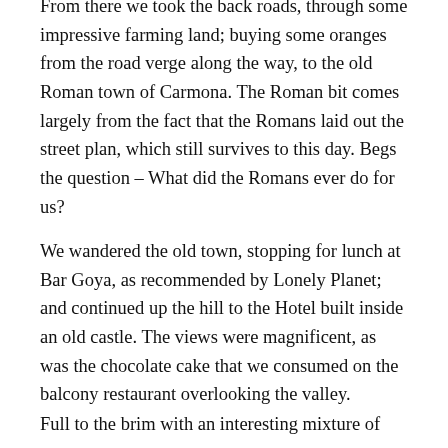From there we took the back roads, through some impressive farming land; buying some oranges from the road verge along the way, to the old Roman town of Carmona. The Roman bit comes largely from the fact that the Romans laid out the street plan, which still survives to this day. Begs the question – What did the Romans ever do for us?
We wandered the old town, stopping for lunch at Bar Goya, as recommended by Lonely Planet; and continued up the hill to the Hotel built inside an old castle. The views were magnificent, as was the chocolate cake that we consumed on the balcony restaurant overlooking the valley.
Full to the brim with an interesting mixture of